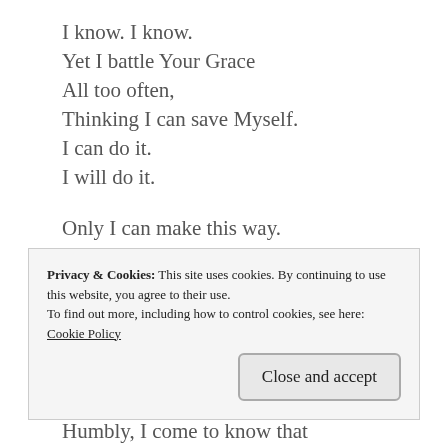I know. I know.
Yet I battle Your Grace
All too often,
Thinking I can save Myself.
I can do it.
I will do it.

Only I can make this way.
I work so hard for You.
I am enough, am I not?
Am I not Your vase of seeds
For new gardens?
Am I not Your…
Privacy & Cookies: This site uses cookies. By continuing to use this website, you agree to their use.
To find out more, including how to control cookies, see here: Cookie Policy
Humbly, I come to know that